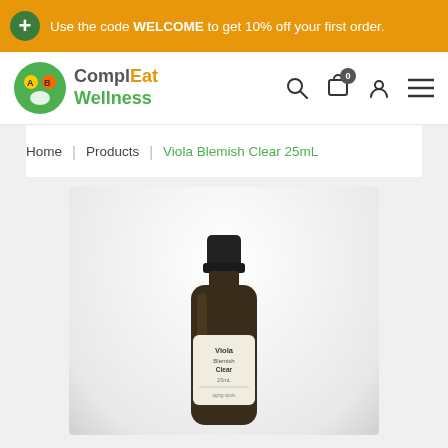Use the code WELCOME to get 10% off your first order.
[Figure (logo): ComplEat Wellness logo with green circular icon and stylized face/figure design, orange and green text]
Home | Products | Viola Blemish Clear 25mL
[Figure (photo): Small dark amber glass bottle with black cap, labeled 'Viola Blemish Clear 25mL', shown on white background]